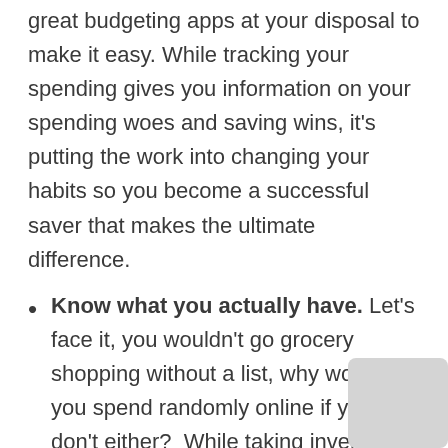great budgeting apps at your disposal to make it easy. While tracking your spending gives you information on your spending woes and saving wins, it's putting the work into changing your habits so you become a successful saver that makes the ultimate difference.
Know what you actually have. Let's face it, you wouldn't go grocery shopping without a list, why would you spend randomly online if you don't either?  While taking inventory of your possessions, use it as an opportunity to do some decluttering. It's a great way to see firsthand how much stuff you end up not using and can stop you from buying stuff you don't need.  A great rule of thumb for many